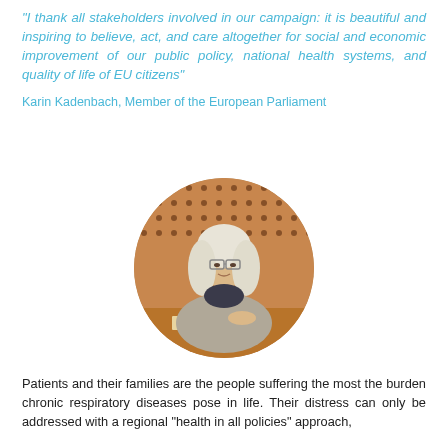“I thank all stakeholders involved in our campaign: it is beautiful and inspiring to believe, act, and care altogether for social and economic improvement of our public policy, national health systems, and quality of life of EU citizens”
Karin Kadenbach, Member of the European Parliament
[Figure (photo): Circular portrait photo of Karin Kadenbach, a woman with long white/blonde hair and glasses, wearing a light grey blazer, seated at a conference table with a microphone and nameplate in front of her and a perforated wooden panel background.]
Patients and their families are the people suffering the most the burden chronic respiratory diseases pose in life. Their distress can only be addressed with a regional “health in all policies” approach,